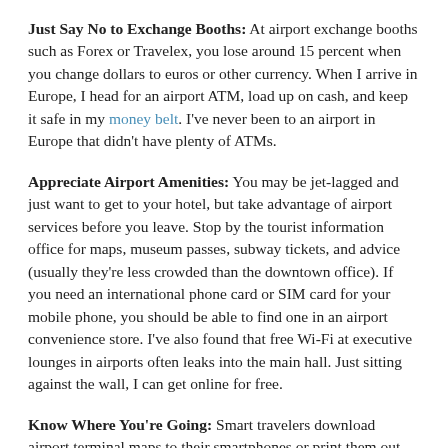Just Say No to Exchange Booths: At airport exchange booths such as Forex or Travelex, you lose around 15 percent when you change dollars to euros or other currency. When I arrive in Europe, I head for an airport ATM, load up on cash, and keep it safe in my money belt. I've never been to an airport in Europe that didn't have plenty of ATMs.
Appreciate Airport Amenities: You may be jet-lagged and just want to get to your hotel, but take advantage of airport services before you leave. Stop by the tourist information office for maps, museum passes, subway tickets, and advice (usually they're less crowded than the downtown office). If you need an international phone card or SIM card for your mobile phone, you should be able to find one in an airport convenience store. I've also found that free Wi-Fi at executive lounges in airports often leaks into the main hall. Just sitting against the wall, I can get online for free.
Know Where You're Going: Smart travelers download airport terminal maps to their smartphones or print them out before they leave. You can also look for websites with detailed instructions on how to get from your arrival gate to the